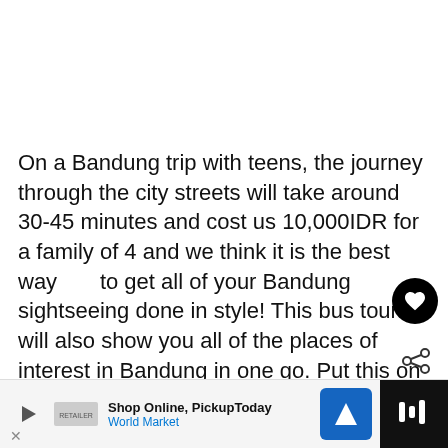On a Bandung trip with teens, the journey through the city streets will take around 30-45 minutes and cost us 10,000IDR for a family of 4 and we think it is the best way to get all of your Bandung sightseeing done in style! This bus tour will also show you all of the places of interest in Bandung in one go. Put this on your Bandung itinerary for your family vacation if you are
[Figure (other): Heart (like) button - black circular button with white heart icon]
[Figure (other): Share button - share icon]
[Figure (other): What's Next widget with thumbnail and text: WHAT'S NEXT → 8 awesome things to do ...]
[Figure (other): Advertisement bar: Shop Online, Pickup Today - World Market with navigation icon and close button]